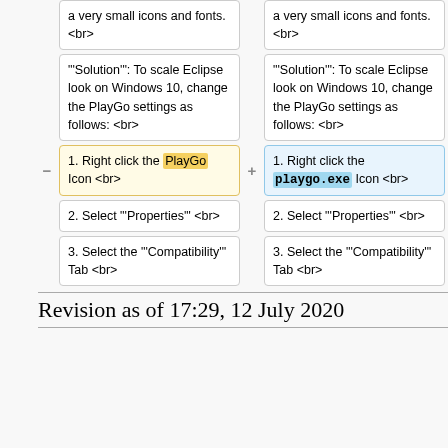a very small icons and fonts. <br>
a very small icons and fonts. <br>
"'Solution'": To scale Eclipse look on Windows 10, change the PlayGo settings as follows: <br>
"'Solution'": To scale Eclipse look on Windows 10, change the PlayGo settings as follows: <br>
1. Right click the PlayGo Icon <br>
1. Right click the playgo.exe Icon <br>
2. Select "'Properties'" <br>
2. Select "'Properties'" <br>
3. Select the "'Compatibility'" Tab <br>
3. Select the "'Compatibility'" Tab <br>
Revision as of 17:29, 12 July 2020